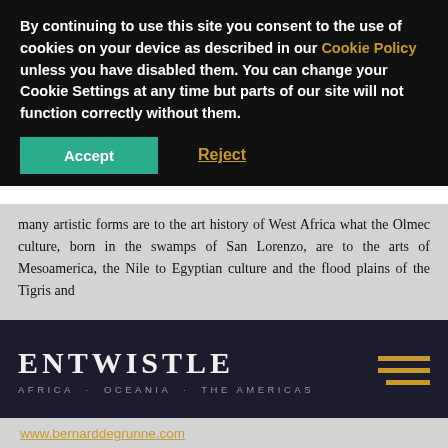By continuing to use this site you consent to the use of cookies on your device as described in our Cookie Policy unless you have disabled them. You can change your Cookie Settings at any time but parts of our site will not function correctly without them.
Accept  Reject
many artistic forms are to the art history of West Africa what the Olmec culture, born in the swamps of San Lorenzo, are to the arts of Mesoamerica, the Nile to Egyptian culture and the flood plains of the Tigris and
[Figure (logo): Entwistle gallery logo: 'ENTWISTLE' in large serif white capitals, subtitle 'AFRICA · OCEANIA · THE AMERICAS' in grey spaced caps, on dark navy background. Hamburger menu icon in gold on the right.]
www.bernarddegrunne.com
[1] This poetic description was coined by Michael Coe in his study of the Olmec San Lorenzo complex, Cfr. Michael Coe, « Gift of the River: Ecology of the San Lorenzo Olmec", in E. Benson, ed., The Olmec and their Neighbors. Essays in Memory of Matthew W. Sterling, Washington D.C. Dumbarton Oaks Research and Library, 1981, p. 15-20